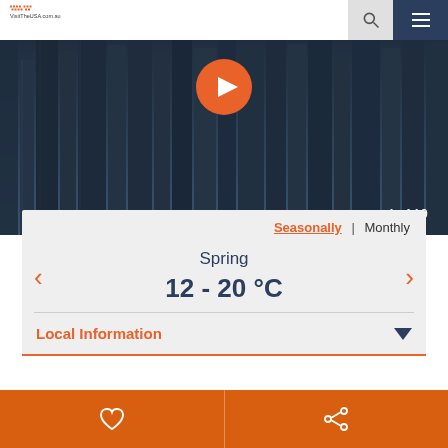VisitTheUSA.com.au
[Figure (photo): Aerial view of city skyscrapers with dark blue tones, with a play button overlay and '1 of 10' counter]
Seasonally | Monthly
Spring
12 - 20 °C
Local Information